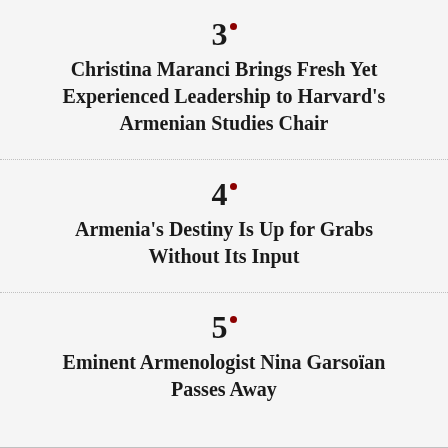3. Christina Maranci Brings Fresh Yet Experienced Leadership to Harvard's Armenian Studies Chair
4. Armenia's Destiny Is Up for Grabs Without Its Input
5. Eminent Armenologist Nina Garsoïan Passes Away